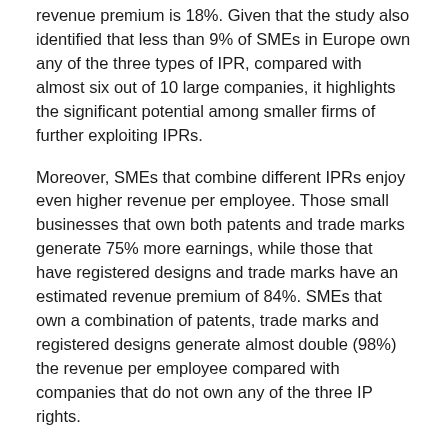revenue premium is 18%. Given that the study also identified that less than 9% of SMEs in Europe own any of the three types of IPR, compared with almost six out of 10 large companies, it highlights the significant potential among smaller firms of further exploiting IPRs.
Moreover, SMEs that combine different IPRs enjoy even higher revenue per employee. Those small businesses that own both patents and trade marks generate 75% more earnings, while those that have registered designs and trade marks have an estimated revenue premium of 84%. SMEs that own a combination of patents, trade marks and registered designs generate almost double (98%) the revenue per employee compared with companies that do not own any of the three IP rights.
Overall, the report further demonstrates that IPR-owning firms are more strongly represented in the sectors of information and communication (with 18% of companies in that sector owning IPRs), manufacturing (14%) and other service activities (14%), as well as scientific and technical activities (13%).